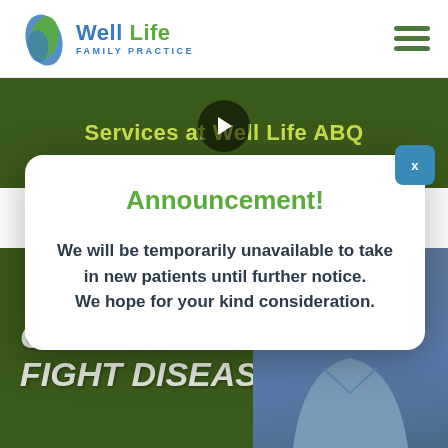[Figure (logo): Well Life Family Practice logo with blue and green leaf icon]
[Figure (screenshot): Green video banner strip with text 'Services at Well Life ABQ' and play button]
Announcement!
We will be temporarily unavailable to take in new patients until further notice.
We hope for your kind consideration.
[Figure (screenshot): Bottom green video section with italic text 'CAN HELP YOU FIGHT DISEASES' and a woman in blue scrubs]